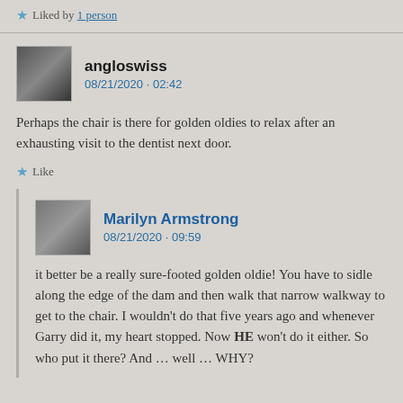Liked by 1 person
angloswiss
08/21/2020 · 02:42
Perhaps the chair is there for golden oldies to relax after an exhausting visit to the dentist next door.
Like
Marilyn Armstrong
08/21/2020 · 09:59
it better be a really sure-footed golden oldie! You have to sidle along the edge of the dam and then walk that narrow walkway to get to the chair. I wouldn't do that five years ago and whenever Garry did it, my heart stopped. Now HE won't do it either. So who put it there? And … well … WHY?